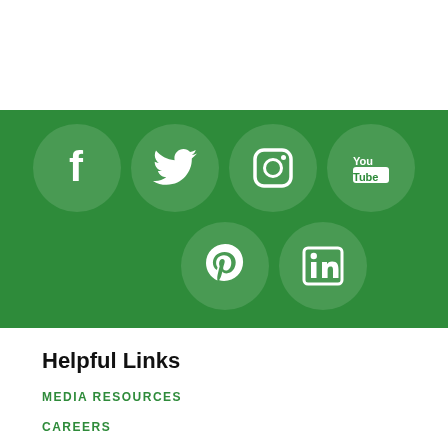[Figure (infographic): Green background section with six social media icon circles in two rows: Facebook, Twitter, Instagram, YouTube (top row), Pinterest, LinkedIn (bottom row). All icons are white on semi-transparent circles.]
Helpful Links
MEDIA RESOURCES
CAREERS